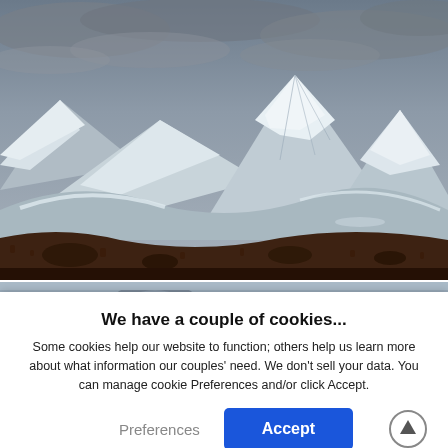[Figure (photo): Photograph of snow-capped mountains under a dramatic cloudy grey sky, with dark brown moorland and rocky terrain in the foreground. A large snow-covered mountain peak is prominent in the center-right.]
[Figure (photo): Partial view of a second photo (cropped at bottom of page), showing the top edge of another outdoor scene with a grey sky.]
We have a couple of cookies...
Some cookies help our website to function; others help us learn more about what information our couples' need. We don't sell your data. You can manage cookie Preferences and/or click Accept.